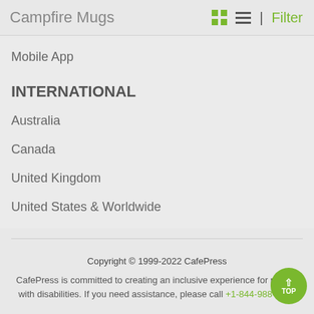Campfire Mugs
Mobile App
INTERNATIONAL
Australia
Canada
United Kingdom
United States & Worldwide
Copyright © 1999-2022 CafePress
CafePress is committed to creating an inclusive experience for people with disabilities. If you need assistance, please call +1-844-988-0030